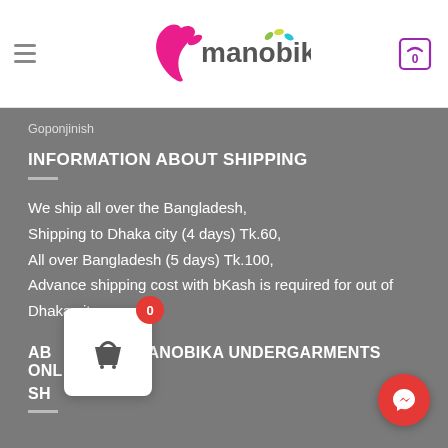manobika
Goponjinish
INFORMATION ABOUT SHIPPING
We ship all over the Bangladesh,
Shipping to Dhaka city (4 days) Tk.60,
All over Bangladesh (5 days) Tk.100,
Advance shipping cost with bKash is required for out of Dhaka city.
ABOUT MANOBIKA UNDERGARMENTS ONLINE SHOP